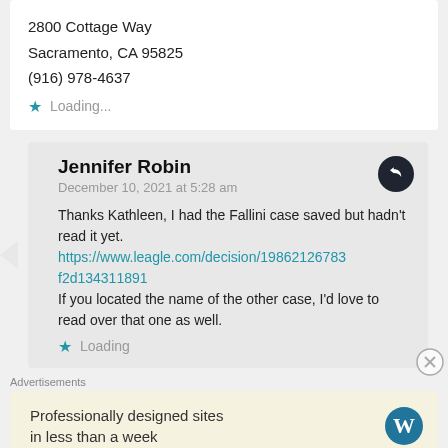2800 Cottage Way
Sacramento, CA 95825
(916) 978-4637
★ Loading...
Jennifer Robin
December 10, 2021 at 5:28 am

Thanks Kathleen, I had the Fallini case saved but hadn't read it yet.
https://www.leagle.com/decision/19862126783f2d134311891
If you located the name of the other case, I'd love to read over that one as well.
★ Loading
Advertisements
Professionally designed sites in less than a week